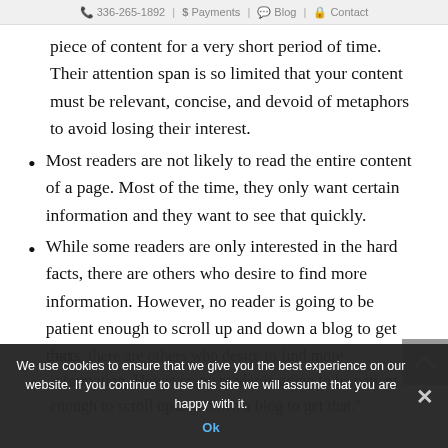336-265-1892 | $Payments | Blog | Contact
piece of content for a very short period of time. Their attention span is so limited that your content must be relevant, concise, and devoid of metaphors to avoid losing their interest.
Most readers are not likely to read the entire content of a page. Most of the time, they only want certain information and they want to see that quickly.
While some readers are only interested in the hard facts, there are others who desire to find more information. However, no reader is going to be patient enough to scroll up and down a blog to get that.
We use cookies to ensure that we give you the best experience on our website. If you continue to use this site we will assume that you are happy with it. Ok ×